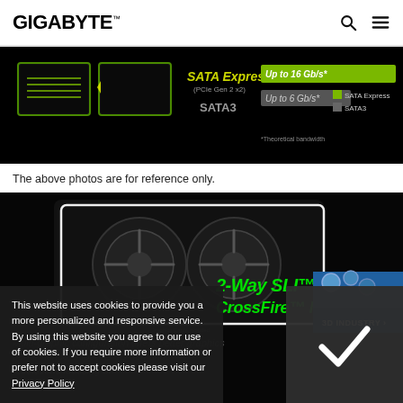GIGABYTE™
[Figure (photo): SATA Express and SATA3 connector comparison diagram showing bandwidth: SATA Express up to 16 Gb/s, SATA3 up to 6 Gb/s. Theoretical bandwidth note included.]
The above photos are for reference only.
[Figure (photo): GIGABYTE graphics card (GPU) with triple fan cooler on black background, with 2-Way SLI/3-Way CrossFire Multi-Graphics configuration promotional text in green. 3D Industry badge visible on right.]
2-Way SLI™/3-Wa
CrossFire™ Multi-
This website uses cookies to provide you a more personalized and responsive service. By using this website you agree to our use of cookies. If you require more information or prefer not to accept cookies please visit our Privacy Policy